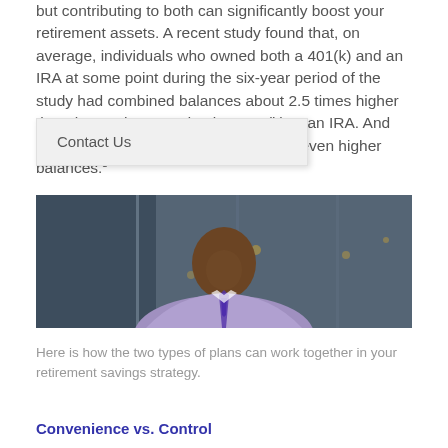but contributing to both can significantly boost your retirement assets. A recent study found that, on average, individuals who owned both a 401(k) and an IRA at some point during the six-year period of the study had combined balances about 2.5 times higher than those who owned only a 401(k) or an IRA. And those who owned all three types of accounts throughout the entire period had even higher balances.
[Figure (photo): Professional man in a light purple shirt and striped tie smiling, photographed in front of a glass building exterior. He appears confident and is the main subject of the photo.]
Here is how the two types of plans can work together in your retirement savings strategy.
Convenience vs. Control